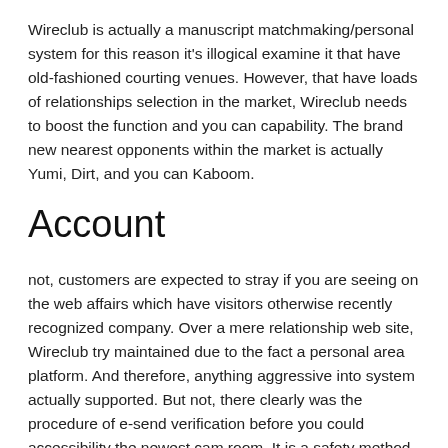Wireclub is actually a manuscript matchmaking/personal system for this reason it's illogical examine it that have old-fashioned courting venues. However, that have loads of relationships selection in the market, Wireclub needs to boost the function and you can capability. The brand new nearest opponents within the market is actually Yumi, Dirt, and you can Kaboom.
Account
not, customers are expected to stray if you are seeing on the web affairs which have visitors otherwise recently recognized company. Over a mere relationship web site, Wireclub try maintained due to the fact a personal area platform. And therefore, anything aggressive into system actually supported. But not, there clearly was the procedure of e-send verification before you could accessibility the newest cam room. It is a safety method and you may a straightforward filtering motion to help you would the fresh admission of people with a faux character and confusing belief. Wireclub it allows posting of most